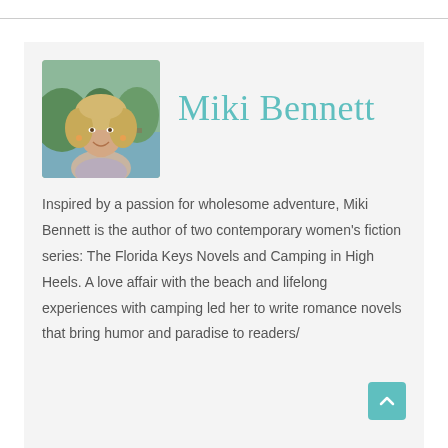[Figure (photo): Headshot photograph of Miki Bennett, a woman with curly blonde hair, smiling, outdoors near water with green foliage background.]
Miki Bennett
Inspired by a passion for wholesome adventure, Miki Bennett is the author of two contemporary women's fiction series: The Florida Keys Novels and Camping in High Heels. A love affair with the beach and lifelong experiences with camping led her to write romance novels that bring humor and paradise to readers/